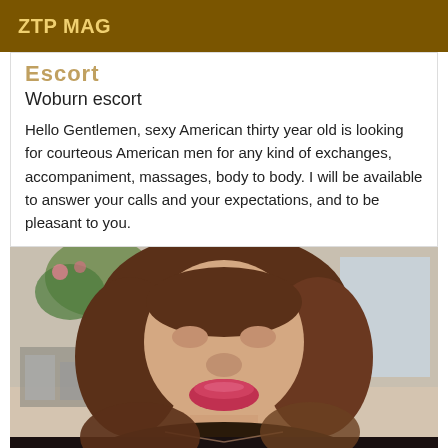ZTP MAG
Escort
Woburn escort
Hello Gentlemen, sexy American thirty year old is looking for courteous American men for any kind of exchanges, accompaniment, massages, body to body. I will be available to answer your calls and your expectations, and to be pleasant to you.
[Figure (photo): Close-up portrait photo of a woman with brown hair in a bob cut, wearing a black top, making a kissing expression toward the camera. Indoor background visible.]